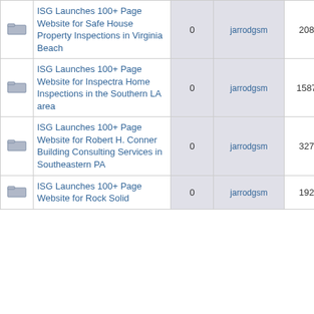|  | Topic | Replies | Author | Views | Last Post |
| --- | --- | --- | --- | --- | --- |
| [folder] | ISG Launches 100+ Page Website for Safe House Property Inspections in Virginia Beach | 0 | jarrodgsm | 2086 | 09/08/2016 09:51 jarrodgsm → |
| [folder] | ISG Launches 100+ Page Website for Inspectra Home Inspections in the Southern LA area | 0 | jarrodgsm | 15875 | 09/07/2016 02:05 jarrodgsm → |
| [folder] | ISG Launches 100+ Page Website for Robert H. Conner Building Consulting Services in Southeastern PA | 0 | jarrodgsm | 3277 | 09/07/2016 02:02 jarrodgsm → |
| [folder] | ISG Launches 100+ Page Website for Rock Solid | 0 | jarrodgsm | 1920 | 09/07/2016 01:46 jarrodgsm → |